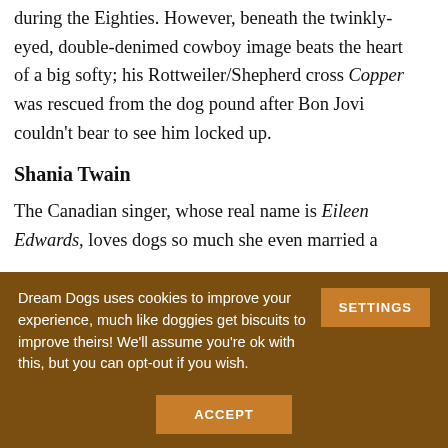handedly propped up the global hairspray industry during the Eighties. However, beneath the twinkly-eyed, double-denimed cowboy image beats the heart of a big softy; his Rottweiler/Shepherd cross Copper was rescued from the dog pound after Bon Jovi couldn't bear to see him locked up.
Shania Twain
The Canadian singer, whose real name is Eileen Edwards, loves dogs so much she even married a
Dream Dogs uses cookies to improve your experience, much like doggies get biscuits to improve theirs! We'll assume you're ok with this, but you can opt-out if you wish. SETTINGS ACCEPT